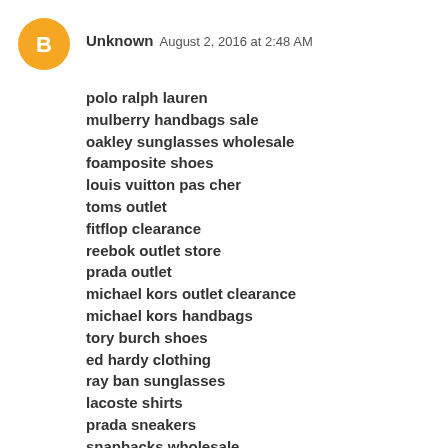[Figure (illustration): Orange circular blogger avatar icon with white 'B' letter in center]
Unknown August 2, 2016 at 2:48 AM
polo ralph lauren
mulberry handbags sale
oakley sunglasses wholesale
foamposite shoes
louis vuitton pas cher
toms outlet
fitflop clearance
reebok outlet store
prada outlet
michael kors outlet clearance
michael kors handbags
tory burch shoes
ed hardy clothing
ray ban sunglasses
lacoste shirts
prada sneakers
snapbacks wholesale
ray ban sunglasses
michael kors outlet
longchamp bags